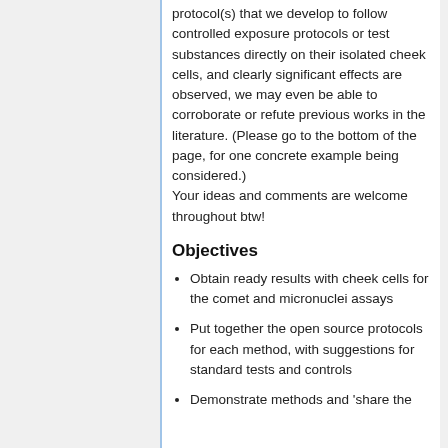protocol(s) that we develop to follow controlled exposure protocols or test substances directly on their isolated cheek cells, and clearly significant effects are observed, we may even be able to corroborate or refute previous works in the literature. (Please go to the bottom of the page, for one concrete example being considered.) Your ideas and comments are welcome throughout btw!
Objectives
Obtain ready results with cheek cells for the comet and micronuclei assays
Put together the open source protocols for each method, with suggestions for standard tests and controls
Demonstrate methods and 'share the